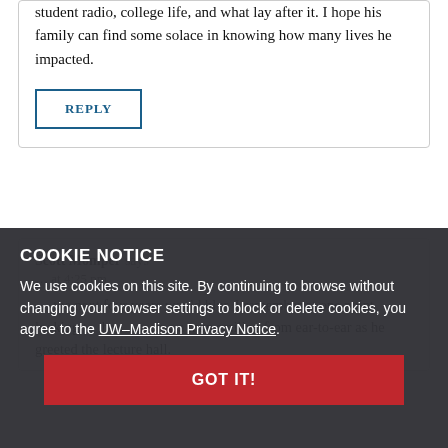student radio, college life, and what lay after it. I hope his family can find some solace in knowing how many lives he impacted.
REPLY
Scott Momper says
… at 4:25 pm
… the next four years would blur. I remember at one point looking to the … seeing a man smiling from ear-to-ear as he greeted the lecture hall.
COOKIE NOTICE
We use cookies on this site. By continuing to browse without changing your browser settings to block or delete cookies, you agree to the UW–Madison Privacy Notice.
GOT IT!